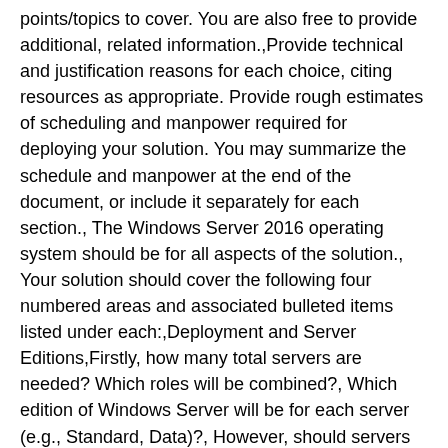points/topics to cover. You are also free to provide additional, related information.,Provide technical and justification reasons for each choice, citing resources as appropriate. Provide rough estimates of scheduling and manpower required for deploying your solution. You may summarize the schedule and manpower at the end of the document, or include it separately for each section., The Windows Server 2016 operating system should be for all aspects of the solution., Your solution should cover the following four numbered areas and associated bulleted items listed under each:,Deployment and Server Editions,Firstly, how many total servers are needed? Which roles will be combined?, Which edition of Windows Server will be for each server (e.g., Standard, Data)?, However, should servers be a virtualization using Hyper-V?, Where will each of the servers be located (which of the two sites)?, How will the servers be deployed?,DNS,DNS namespace design (e.g., domain name[s] chosen split DNS for internet/intranet, zones), How will DNS be handled for the second site?,Active Directory,Number of AD domains and names of those domains, Will there be any ,Read-Only Domain Controllers,?, How will the second site factor into domain controller placement? How will AD sites be configured?,File and Printer Sharing,What